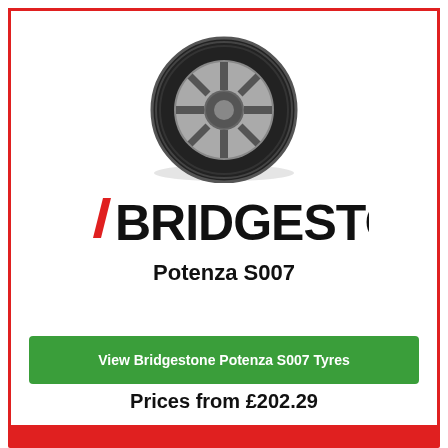[Figure (photo): Bridgestone Potenza S007 tyre product photo, viewed at a slight angle showing tread pattern and alloy wheel]
[Figure (logo): Bridgestone logo in black with red diagonal slash element]
Potenza S007
View Bridgestone Potenza S007 Tyres
Prices from £202.29